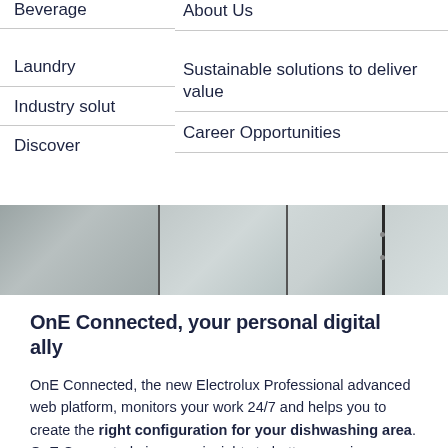Beverage
About Us
Laundry
Sustainable solutions to deliver value
Industry solut
Career Opportunities
Discover
[Figure (photo): Stainless steel panels or equipment doors in a row, showing industrial dishwashing or laundry equipment]
OnE Connected, your personal digital ally
OnE Connected, the new Electrolux Professional advanced web platform, monitors your work 24/7 and helps you to create the right configuration for your dishwashing area. OnE Connected gives you insights to better organize